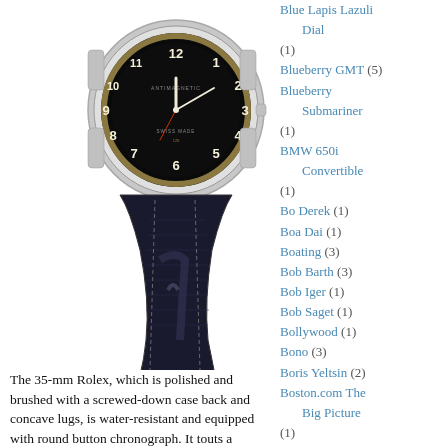[Figure (photo): A 35-mm Rolex watch with a black dial showing cream-colored Arabic numerals, an inner tachymeter scale, and a black leather strap. The watch is photographed from the side/angle view.]
The 35-mm Rolex, which is polished and brushed with a screwed-down case back and concave lugs, is water-resistant and equipped with round button chronograph. It touts a
Blue Lapis Lazuli Dial (1)
Blueberry GMT (5)
Blueberry Submariner (1)
BMW 650i Convertible (1)
Bo Derek (1)
Boa Dai (1)
Boating (3)
Bob Barth (3)
Bob Iger (1)
Bob Saget (1)
Bollywood (1)
Bono (3)
Boris Yeltsin (2)
Boston.com The Big Picture (1)
Boxer (2)
Bracelet 97200 (2)